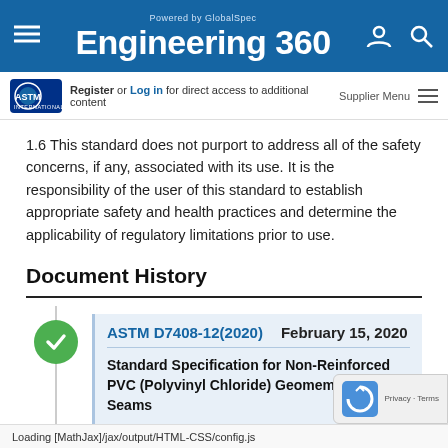Powered by GlobalSpec Engineering 360
Register or Log in for direct access to additional content   Supplier Menu
1.6 This standard does not purport to address all of the safety concerns, if any, associated with its use. It is the responsibility of the user of this standard to establish appropriate safety and health practices and determine the applicability of regulatory limitations prior to use.
Document History
ASTM D7408-12(2020)   February 15, 2020
Standard Specification for Non-Reinforced PVC (Polyvinyl Chloride) Geomembrane Seams
1.1 This specification covers the minimum ... icated into unreinforced ... PVC ...
Loading [MathJax]/jax/output/HTML-CSS/config.js